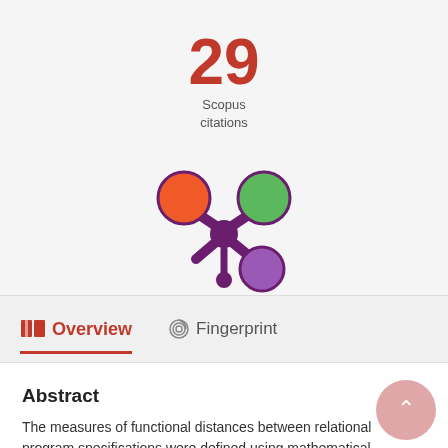29
Scopus
citations
[Figure (logo): Altmetric/Pure logo with orange, green, and purple circles connected by a dark purple snowflake-like shape]
Overview
Fingerprint
Abstract
The measures of functional distances between relational program specifications were defined using mathematical